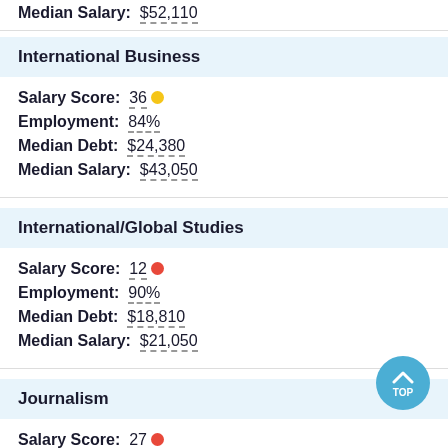Median Salary: $52,110
International Business
Salary Score: 36 🟡
Employment: 84%
Median Debt: $24,380
Median Salary: $43,050
International/Global Studies
Salary Score: 12 🔴
Employment: 90%
Median Debt: $18,810
Median Salary: $21,050
Journalism
Salary Score: 27 🔴
Employment: 97%